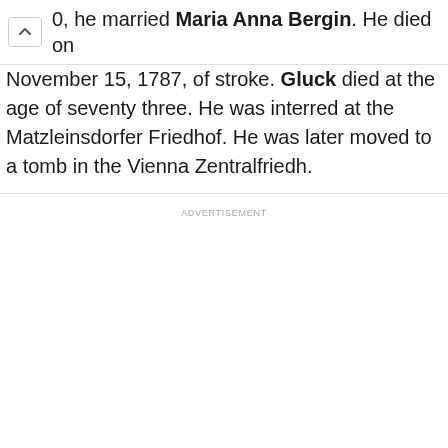0, he married Maria Anna Bergin. He died on
November 15, 1787, of stroke. Gluck died at the age of seventy three. He was interred at the Matzleinsdorfer Friedhof. He was later moved to a tomb in the Vienna Zentralfriedh.
ADVERTISEMENT